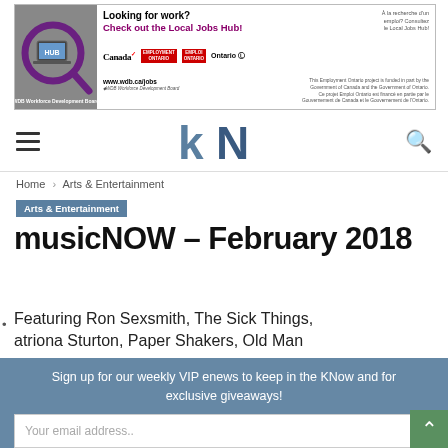[Figure (infographic): Advertisement banner for Local Jobs Hub. Shows magnifier glass with laptop/HUB logo on left. Text: 'Looking for work? Check out the Local Jobs Hub!' with Canada, Employment Ontario, Emploi Ontario, and Ontario logos. URL www.wdb.ca/jobs. Bilingual funding notice from Government of Canada and Ontario.]
[Figure (logo): KN (Kingston News) logo in blue and grey letters, hamburger menu icon on left, search icon on right]
Home › Arts & Entertainment
Arts & Entertainment
musicNOW – February 2018
Featuring Ron Sexsmith, The Sick Things, Catriona Sturton, Paper Shakers, Old Man
Sign up for our weekly VIP enews to keep in the KNow and for exclusive giveaways!
Your email address..
SUBSCRIBE